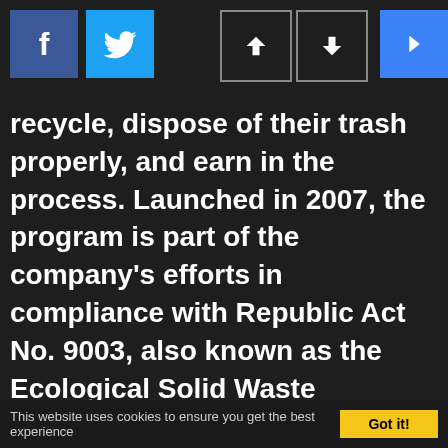Social media share buttons and navigation arrows
recycle, dispose of their trash properly, and earn in the process. Launched in 2007, the program is part of the company's efforts in compliance with Republic Act No. 9003, also known as the Ecological Solid Waste Management Program.
This website uses cookies to ensure you get the best experience   Got it!